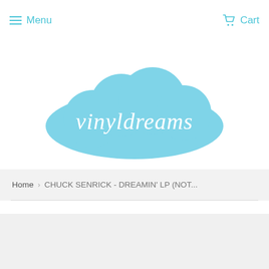Menu  Cart
[Figure (logo): Vinyldreams logo: blue cloud shape with cursive white text 'vinyldreams']
Home  >  CHUCK SENRICK - DREAMIN' LP (NOT...